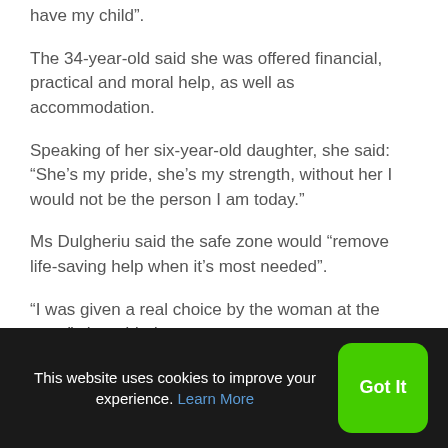have my child”.
The 34-year-old said she was offered financial, practical and moral help, as well as accommodation.
Speaking of her six-year-old daughter, she said: “She’s my pride, she’s my strength, without her I would not be the person I am today.”
Ms Dulgheriu said the safe zone would “remove life-saving help when it’s most needed”.
“I was given a real choice by the woman at the gate,” she added.
This website uses cookies to improve your experience. Learn More
Got It